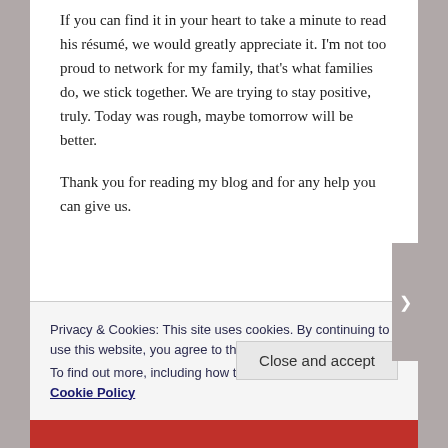If you can find it in your heart to take a minute to read his résumé, we would greatly appreciate it. I'm not too proud to network for my family, that's what families do, we stick together. We are trying to stay positive, truly. Today was rough, maybe tomorrow will be better.
Thank you for reading my blog and for any help you can give us.
Privacy & Cookies: This site uses cookies. By continuing to use this website, you agree to their use.
To find out more, including how to control cookies, see here: Cookie Policy